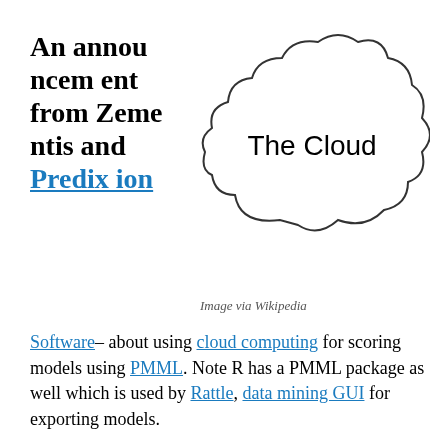An announcement from Zementis and Prediction Software
[Figure (illustration): A hand-drawn style cloud shape containing the text 'The Cloud']
Image via Wikipedia
– about using cloud computing for scoring models using PMML. Note R has a PMML package as well which is used by Rattle, data mining GUI for exporting models.